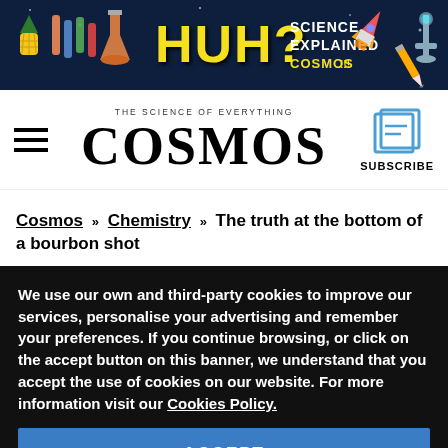[Figure (illustration): Cosmos magazine HUH? Science Explained banner with colorful science icons including pineapple, test tubes, flask, rocket, pencil, microscope on dark blue background]
THE SCIENCE OF EVERYTHING
COSMOS
SUBSCRIBE
Cosmos » Chemistry » The truth at the bottom of a bourbon shot
We use our own and third-party cookies to improve our services, personalise your advertising and remember your preferences. If you continue browsing, or click on the accept button on this banner, we understand that you accept the use of cookies on our website. For more information visit our Cookies Policy.
ACCEPT